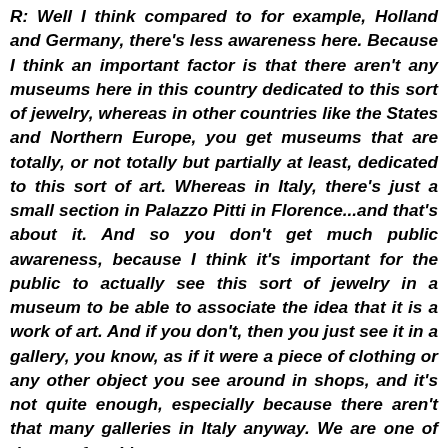R: Well I think compared to for example, Holland and Germany, there's less awareness here. Because I think an important factor is that there aren't any museums here in this country dedicated to this sort of jewelry, whereas in other countries like the States and Northern Europe, you get museums that are totally, or not totally but partially at least, dedicated to this sort of art. Whereas in Italy, there's just a small section in Palazzo Pitti in Florence...and that's about it. And so you don't get much public awareness, because I think it's important for the public to actually see this sort of jewelry in a museum to be able to associate the idea that it is a work of art. And if you don't, then you just see it in a gallery, you know, as if it were a piece of clothing or any other object you see around in shops, and it's not quite enough, especially because there aren't that many galleries in Italy anyway. We are one of the very few. It's